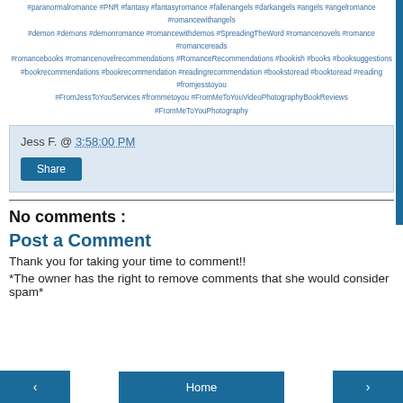#paranormalromance #PNR #fantasy #fantasyromance #fallenangels #darkangels #angels #angelromance #romancewithangels #demon #demons #demonromance #romancewithdemos #SpreadingTheWord #romancenovels #romance #romancereads #romancebooks #romancenovelrecommendations #RomanceRecommendations #bookish #books #booksuggestions #bookrecommendations #bookrecommendation #readingrecommendation #bookstoread #booktoread #reading #fromjesstoyou #FromJessToYouServices #frommetoyou #FromMeToYouVideoPhotographyBookReviews #FromMeToYouPhotography
Jess F. @ 3:58:00 PM
Share
No comments :
Post a Comment
Thank you for taking your time to comment!!
*The owner has the right to remove comments that she would consider spam*
< Home >